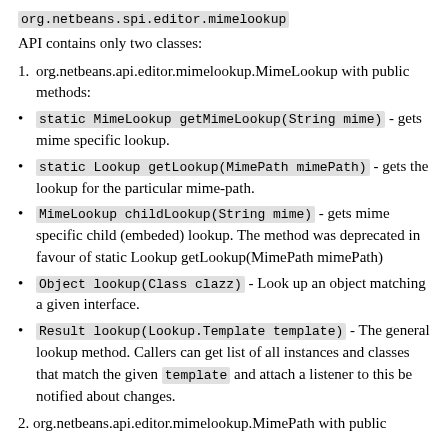org.netbeans.spi.editor.mimelookup
API contains only two classes:
1. org.netbeans.api.editor.mimelookup.MimeLookup with public methods:
static MimeLookup getMimeLookup(String mime) - gets mime specific lookup.
static Lookup getLookup(MimePath mimePath) - gets the lookup for the particular mime-path.
MimeLookup childLookup(String mime) - gets mime specific child (embeded) lookup. The method was deprecated in favour of static Lookup getLookup(MimePath mimePath)
Object lookup(Class clazz) - Look up an object matching a given interface.
Result lookup(Lookup.Template template) - The general lookup method. Callers can get list of all instances and classes that match the given template and attach a listener to this be notified about changes.
2. org.netbeans.api.editor.mimelookup.MimePath with public